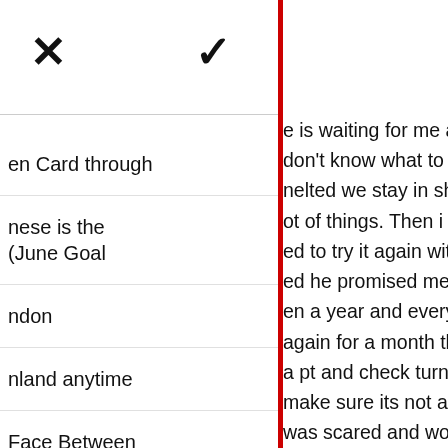[Figure (screenshot): Mobile app interface screenshot showing a two-panel view. Left panel contains navigation icons (X, checkmark, search) at top and truncated nav menu items. Right panel shows article text about a personal story, with a red vertical divider separating the panels.]
e is waiting for me at the airport i was don't know what to feel all the anger is nelted we stay in shanghai for one day talk ot of things. Then i told him to give me ed to try it again with him yes i did even i ed he promised me that he will fixed en a year and everything seems fine. I again for a month then I noticed that i was a pt and check turned out positive i go to make sure its not a mistake but i am was scared and worried about what will d him he was shocked and he told me he can't have another kid not now. But what ne back to china one month he didn't show me but never show himself he said he is confused and everything i said ok but
en Card through
nese is the (June Goal
ndon
nland anytime
Face Between